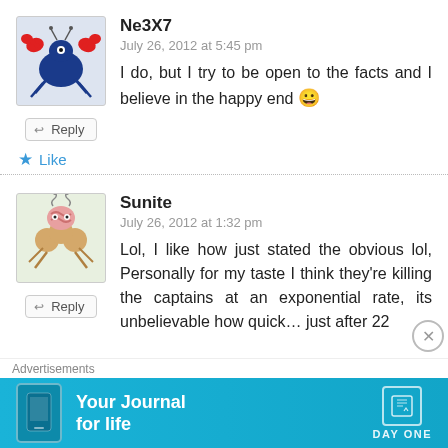[Figure (illustration): Avatar of user Ne3X7: cartoon crab-bird character with red claws on blue body]
Ne3X7
July 26, 2012 at 5:45 pm
I do, but I try to be open to the facts and I believe in the happy end 😀
↩ Reply
★ Like
[Figure (illustration): Avatar of user Sunite: cartoon creature with brain-like head and clover body]
Sunite
July 26, 2012 at 1:32 pm
Lol, I like how just stated the obvious lol, Personally for my taste I think they're killing the captains at an exponential rate, its unbelievable how quick… just after 22
↩ Reply
Advertisements
[Figure (screenshot): Day One journal app advertisement banner with cyan background, phone graphic, and text 'Your Journal for life']